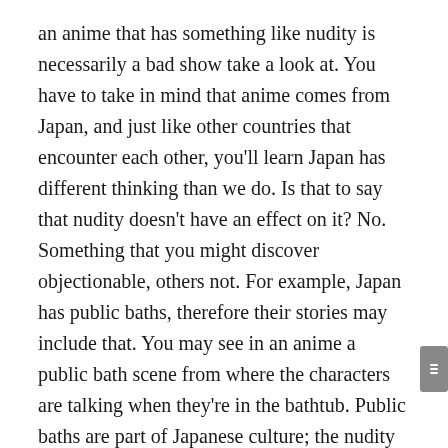an anime that has something like nudity is necessarily a bad show take a look at. You have to take in mind that anime comes from Japan, and just like other countries that encounter each other, you'll learn Japan has different thinking than we do. Is that to say that nudity doesn't have an effect on it? No. Something that you might discover objectionable, others not. For example, Japan has public baths, therefore their stories may include that. You may see in an anime a public bath scene from where the characters are talking when they're in the bathtub. Public baths are part of Japanese culture; the nudity is not sexual in any way, however some people realise that offensive.
They first talked pertaining to the details about the cosplay, most what plot to listen to. As most plots were chosen from anime movies, they thought about